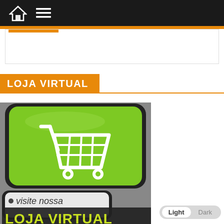Navigation bar with home and menu icons
LOJA VIRTUAL
[Figure (photo): A green keyboard key with a white shopping cart icon on it, resembling an e-commerce key. Below it, another key reads 'visite nossa LOJA VIRTUAL' with 'LOJA VIRTUAL' in large bold green/yellow text on a dark background.]